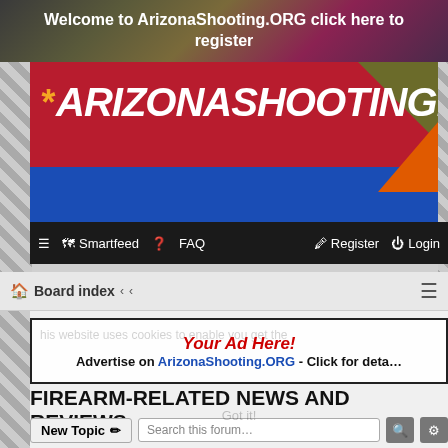Welcome to ArizonaShooting.ORG click here to register
[Figure (logo): ArizonaShooting.ORG logo banner with crimson and blue background and asterisk star symbol]
[Figure (screenshot): Navigation bar with Smartfeed, FAQ, Register, Login menu items]
Board index
[Figure (infographic): Advertisement box: Your Ad Here! Advertise on ArizonaShooting.ORG - Click for details]
FIREARM-RELATED NEWS AND REVIEWS
New Topic  Search this forum...